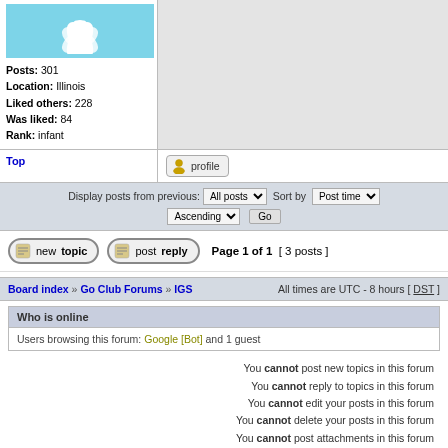[Figure (illustration): Avatar image with white lotus flower on light blue background]
Posts: 301
Location: Illinois
Liked others: 228
Was liked: 84
Rank: infant
Top
[Figure (other): Profile button with user icon]
Display posts from previous: All posts  Sort by  Post time
Ascending  Go
[Figure (other): new topic button]
[Figure (other): post reply button]
Page 1 of 1  [ 3 posts ]
Board index » Go Club Forums » IGS    All times are UTC - 8 hours [ DST ]
Who is online
Users browsing this forum: Google [Bot] and 1 guest
You cannot post new topics in this forum
You cannot reply to topics in this forum
You cannot edit your posts in this forum
You cannot delete your posts in this forum
You cannot post attachments in this forum
Search for:
Jump to: IGS  Go
Powered by phpBB © 2000, 2002, 2005, 2007 phpBB Group